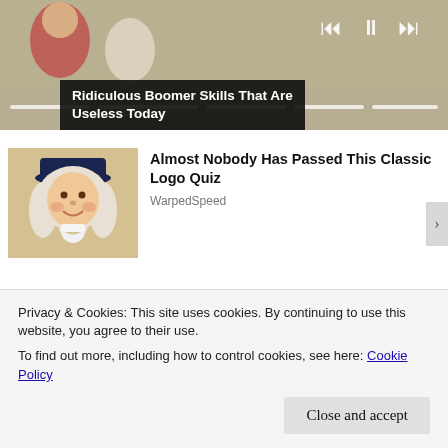[Figure (screenshot): Video player screenshot showing sports figures, with playback controls (previous, pause, next) in top right and a progress bar. Overlay title reads: Ridiculous Boomer Skills That Are Useless Today]
Ridiculous Boomer Skills That Are Useless Today
[Figure (photo): Thumbnail image of the Quaker Oats man - a colonial-era figure in a black hat with white wig]
Almost Nobody Has Passed This Classic Logo Quiz
WarpedSpeed
[Figure (screenshot): Marvel Strange Forces promotional thumbnail with purple/dark background]
iPhone owners are
Privacy & Cookies: This site uses cookies. By continuing to use this website, you agree to their use.
To find out more, including how to control cookies, see here: Cookie Policy
Close and accept